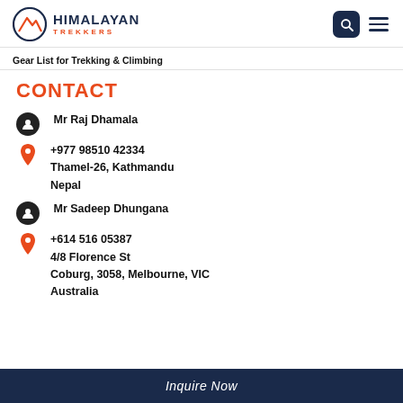Himalayan Trekkers
Gear List for Trekking & Climbing
CONTACT
Mr Raj Dhamala
+977 98510 42334
Thamel-26, Kathmandu
Nepal
Mr Sadeep Dhungana
+614 516 05387
4/8 Florence St
Coburg, 3058, Melbourne, VIC
Australia
Inquire Now